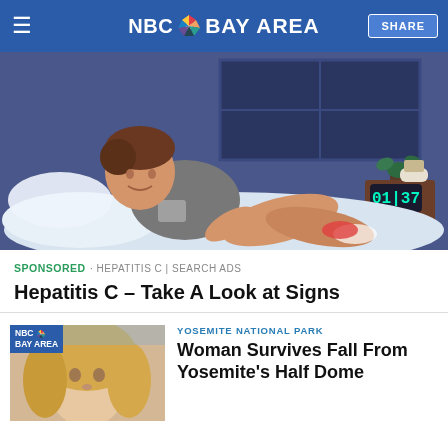NBC Bay Area
[Figure (illustration): Animation-style illustration of a man lying on a bed in a dark bedroom, wearing a grey t-shirt and shorts, scratching his leg. Nightstand with alarm clock showing 01:37 and a plant visible in background.]
SPONSORED · HEPATITIS C | SEARCH ADS
Hepatitis C – Take A Look at Signs
[Figure (photo): Thumbnail image of a blonde woman, NBC Bay Area logo overlay in top left corner.]
YOSEMITE NATIONAL PARK
Woman Survives Fall From Yosemite's Half Dome